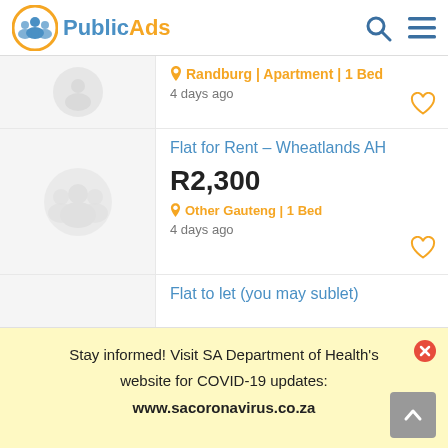PublicAds
Randburg | Apartment | 1 Bed
4 days ago
Flat for Rent – Wheatlands AH
R2,300
Other Gauteng | 1 Bed
4 days ago
Flat to let (you may sublet)
Stay informed! Visit SA Department of Health's website for COVID-19 updates:
www.sacoronavirus.co.za